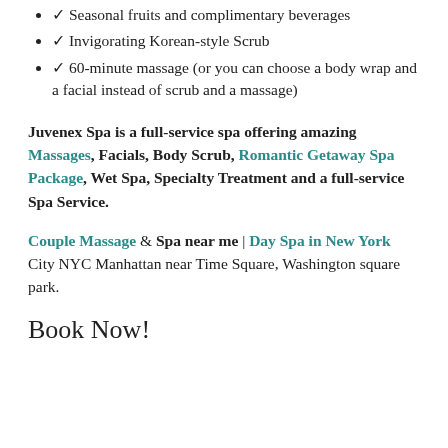Seasonal fruits and complimentary beverages
Invigorating Korean-style Scrub
60-minute massage (or you can choose a body wrap and a facial instead of scrub and a massage)
Juvenex Spa is a full-service spa offering amazing Massages, Facials, Body Scrub, Romantic Getaway Spa Package, Wet Spa, Specialty Treatment and a full-service Spa Service.
Couple Massage & Spa near me | Day Spa in New York City NYC Manhattan near Time Square, Washington square park.
Book Now!